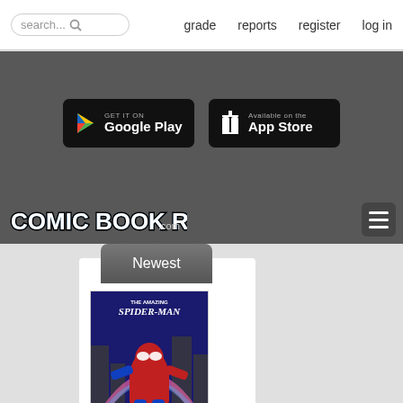search... | grade | reports | register | log in
[Figure (screenshot): Google Play store download button]
[Figure (screenshot): Apple App Store download button]
[Figure (logo): Comic Book Realm .com logo with hamburger menu icon]
Newest
[Figure (illustration): The Amazing Spider-Man comic book cover]
[Figure (illustration): CARtoons comic book cover]